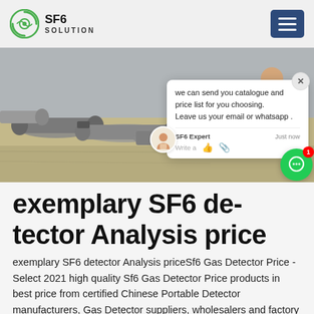SF6 SOLUTION
[Figure (photo): Industrial photo showing large SF6 gas cylinders/pipes laid on the ground with a worker in blue overalls in the background on a concrete surface.]
exemplary SF6 detector Analysis price
exemplary SF6 detector Analysis priceSf6 Gas Detector Price - Select 2021 high quality Sf6 Gas Detector Price products in best price from certified Chinese Portable Detector manufacturers, Gas Detector suppliers, wholesalers and factory on